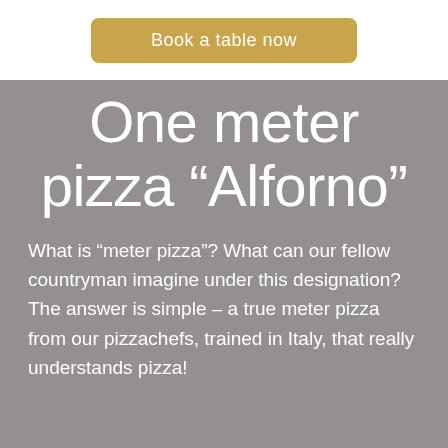Book a table now
One meter pizza “Alforno”
What is “meter pizza”? What can our fellow countryman imagine under this designation? The answer is simple – a true meter pizza from our pizzachefs, trained in Italy, that really understands pizza!